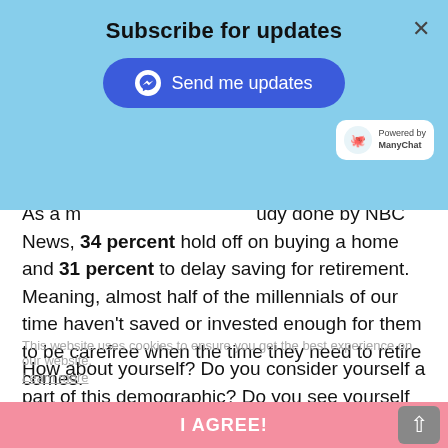Subscribe for updates
[Figure (screenshot): Blue subscribe overlay with messenger send button and ManyChat badge]
As a m...udy done by NBC News, 34 percent hold off on buying a home and 31 percent to delay saving for retirement. Meaning, almost half of the millennials of our time haven't saved or invested enough for them to be carefree when the time they need to retire comes.
How about yourself? Do you consider yourself a part of this demographic? Do you see yourself being in huge debt in the near future or in the following years ahead? What are the things you don't need that you waste money on?
This website uses cookies to ensure you get the best experience on our website. Learn more
I AGREE!